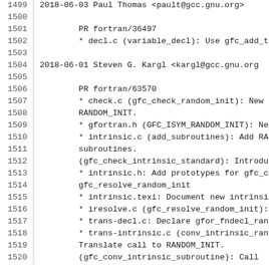Code changelog listing, lines 1499-1520, showing GCC Fortran commit entries by Paul Thomas and Steven G. Kargl dated 2018-06-03 and 2018-06-01 respectively, covering PR fortran/36497, PR fortran/63570, and related file changes.